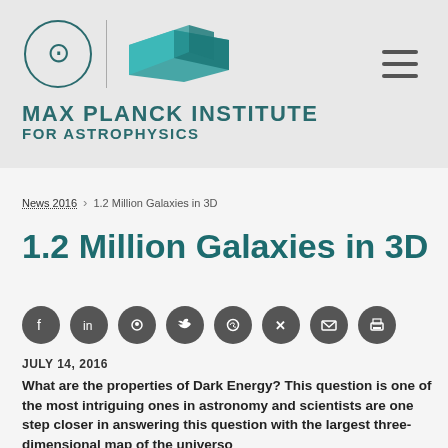[Figure (logo): Max Planck Institute for Astrophysics logo with circular emblem, vertical divider, and 3D building illustration]
MAX PLANCK INSTITUTE FOR ASTROPHYSICS
News 2016 > 1.2 Million Galaxies in 3D
1.2 Million Galaxies in 3D
[Figure (infographic): Social share icons: Facebook, LinkedIn, Reddit, Twitter, WhatsApp, Xing, Email, Print]
JULY 14, 2016
What are the properties of Dark Energy? This question is one of the most intriguing ones in astronomy and scientists are one step closer in answering this question with the largest three-dimensional map of the universe